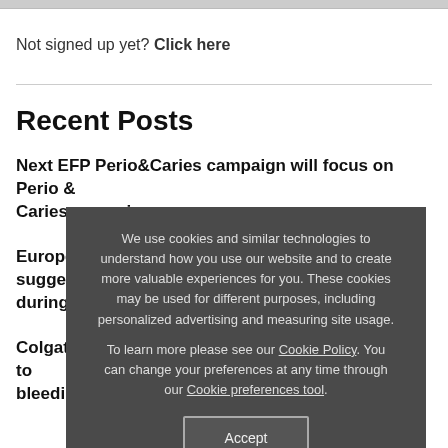Not signed up yet? Click here
Recent Posts
Next EFP Perio & Caries campaign will focus on Perio & Caries Campaign
European Federation of Periodontology provides suggestions for the Management of Dental Clinics during the COVID-19 Pandemic
Colgate supports EFP and the campaign 'Say NO to bleeding gums' on #GumHealthDay
We use cookies and similar technologies to understand how you use our website and to create more valuable experiences for you. These cookies may be used for different purposes, including personalized advertising and measuring site usage. To learn more please see our Cookie Policy. You can change your preferences at any time through our Cookie preferences tool.